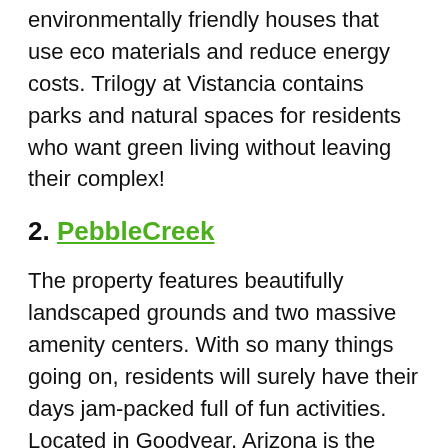providing a greener life by offering environmentally friendly houses that use eco materials and reduce energy costs. Trilogy at Vistancia contains parks and natural spaces for residents who want green living without leaving their complex!
2. PebbleCreek
The property features beautifully landscaped grounds and two massive amenity centers. With so many things going on, residents will surely have their days jam-packed full of fun activities. Located in Goodyear, Arizona is the perfect place for active adults who want to